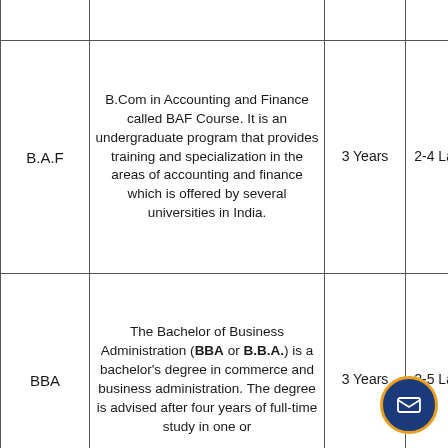| Course | Description | Duration | Fees |
| --- | --- | --- | --- |
| B.A.F | B.Com in Accounting and Finance called BAF Course. It is an undergraduate program that provides training and specialization in the areas of accounting and finance which is offered by several universities in India. | 3 Years | 2-4 Lakhs |
| BBA | The Bachelor of Business Administration (BBA or B.B.A.) is a bachelor's degree in commerce and business administration. The degree is advised after four years of full-time study in one or | 3 Years | 2-5 Lakhs |